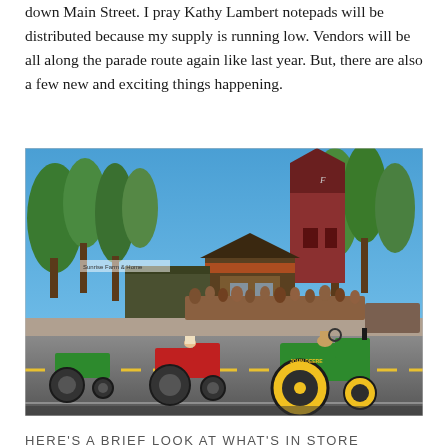down Main Street. I pray Kathy Lambert notepads will be distributed because my supply is running low. Vendors will be all along the parade route again like last year. But, there are also a few new and exciting things happening.
[Figure (photo): A sunny day parade on Main Street with vintage tractors (including a green John Deere and a red tractor) driving down the road, crowds of spectators lining the sidewalks, tall green trees, and a red barn-style building in the background.]
HERE'S A BRIEF LOOK AT WHAT'S IN STORE